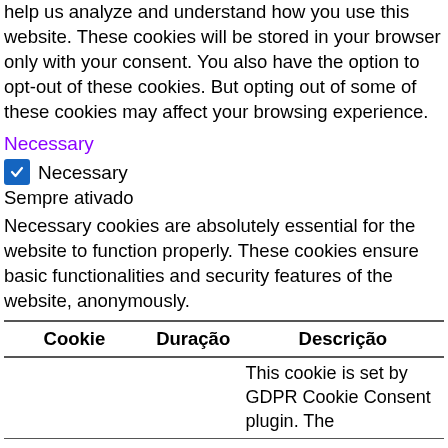help us analyze and understand how you use this website. These cookies will be stored in your browser only with your consent. You also have the option to opt-out of these cookies. But opting out of some of these cookies may affect your browsing experience.
Necessary
☑ Necessary
Sempre ativado
Necessary cookies are absolutely essential for the website to function properly. These cookies ensure basic functionalities and security features of the website, anonymously.
| Cookie | Duração | Descrição |
| --- | --- | --- |
|  |  | This cookie is set by GDPR Cookie Consent plugin. The |